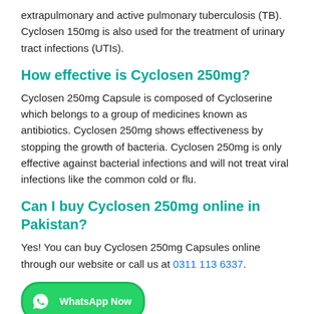extrapulmonary and active pulmonary tuberculosis (TB). Cyclosen 150mg is also used for the treatment of urinary tract infections (UTIs).
How effective is Cyclosen 250mg?
Cyclosen 250mg Capsule is composed of Cycloserine which belongs to a group of medicines known as antibiotics. Cyclosen 250mg shows effectiveness by stopping the growth of bacteria. Cyclosen 250mg is only effective against bacterial infections and will not treat viral infections like the common cold or flu.
Can I buy Cyclosen 250mg online in Pakistan?
Yes! You can buy Cyclosen 250mg Capsules online through our website or call us at 0311 113 6337.
[Figure (other): WhatsApp Now button with green WhatsApp logo icon]
uld I choose?
For adults (above 18), 1 capsule of Cyclosen 250mg 1-2 times